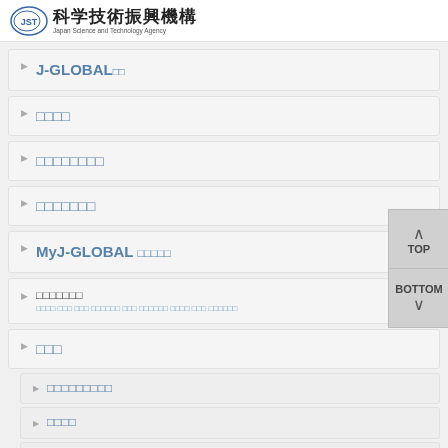[Figure (logo): JST (Japan Science and Technology Agency) logo with Japanese text 科学技術振興機構]
J-GLOBAL□□
□□□□
□□□□□□□□
□□□□□□□
MyJ-GLOBAL □□□□□
□□□□□□□
□□□□ □□□ □□□ □□□□□□ □□□ □□□□□□ □□□□ □□□ □□□□□□
□□□
□□□□□□□□□
□□□□
□□□□□□□□
MyJ-GLOBAL□□□□